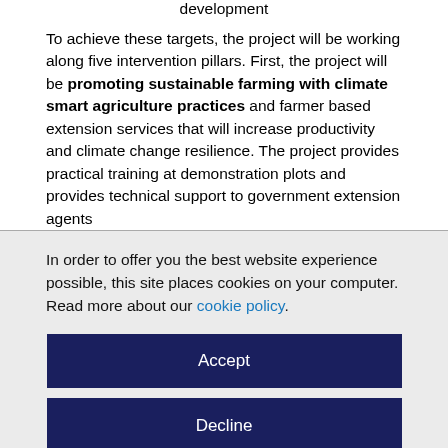development
To achieve these targets, the project will be working along five intervention pillars. First, the project will be promoting sustainable farming with climate smart agriculture practices and farmer based extension services that will increase productivity and climate change resilience. The project provides practical training at demonstration plots and provides technical support to government extension agents
In order to offer you the best website experience possible, this site places cookies on your computer. Read more about our cookie policy.
Accept
Decline